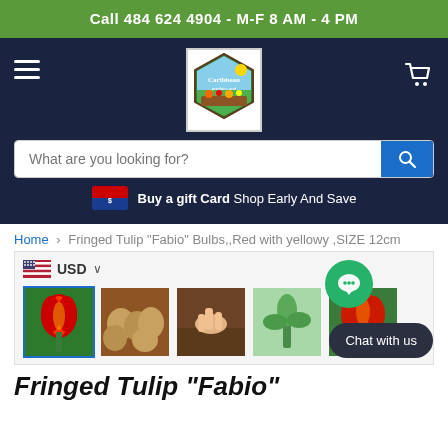Call 484 624 4904 - M-F 8 AM - 4 PM
[Figure (logo): Caribbean produce store logo hexagonal shape with colorful vegetables]
Buy a gift Card Shop Early And Save
Home > Fringed Tulip "Fabio" Bulbs,,Red with yellowy ,SIZE 12cm
[Figure (photo): Product thumbnail images of Fringed Tulip Fabio bulbs showing red tulip flower, bulbs, planting, and growing stages]
USD
Fringed Tulip "Fabio"